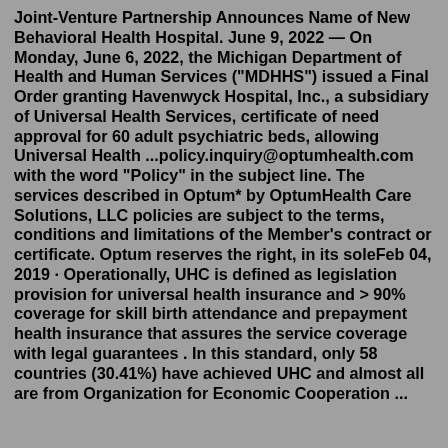Joint-Venture Partnership Announces Name of New Behavioral Health Hospital. June 9, 2022 — On Monday, June 6, 2022, the Michigan Department of Health and Human Services ("MDHHS") issued a Final Order granting Havenwyck Hospital, Inc., a subsidiary of Universal Health Services, certificate of need approval for 60 adult psychiatric beds, allowing Universal Health ...policy.inquiry@optumhealth.com with the word "Policy" in the subject line. The services described in Optum* by OptumHealth Care Solutions, LLC policies are subject to the terms, conditions and limitations of the Member's contract or certificate. Optum reserves the right, in its soleFeb 04, 2019 · Operationally, UHC is defined as legislation provision for universal health insurance and > 90% coverage for skill birth attendance and prepayment health insurance that assures the service coverage with legal guarantees . In this standard, only 58 countries (30.41%) have achieved UHC and almost all are from Organization for Economic Cooperation ...